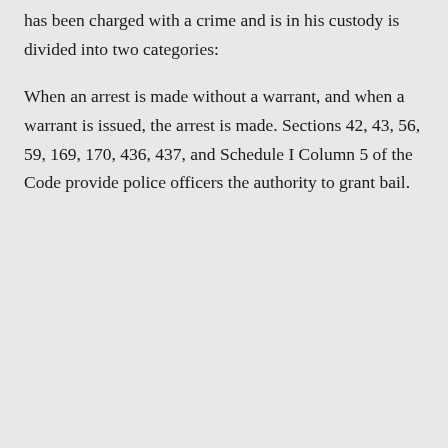has been charged with a crime and is in his custody is divided into two categories:
When an arrest is made without a warrant, and when a warrant is issued, the arrest is made. Sections 42, 43, 56, 59, 169, 170, 436, 437, and Schedule I Column 5 of the Code provide police officers the authority to grant bail.